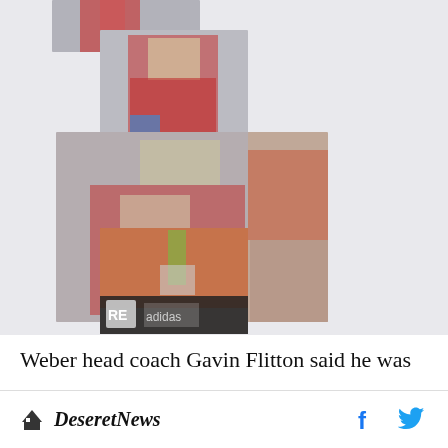[Figure (photo): Collage of soccer/football player photos arranged in a cross/stacked pattern. Multiple images of a player in a red jersey, plus a stadium action shot at bottom.]
Weber head coach Gavin Flitton said he was
Deseret News  [Facebook icon]  [Twitter icon]